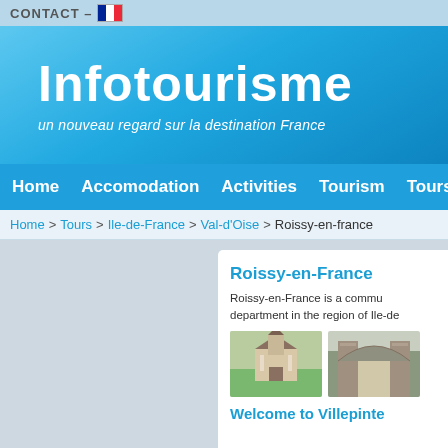CONTACT –
Infotourisme
un nouveau regard sur la destination France
Home  Accomodation  Activities  Tourism  Tours  Eve
Home > Tours > Ile-de-France > Val-d'Oise > Roissy-en-france
Roissy-en-France
Roissy-en-France is a commu department in the region of Ile-de
[Figure (photo): Photo of a church building surrounded by green trees]
[Figure (photo): Photo of a stone gate or archway]
Welcome to Villepinte